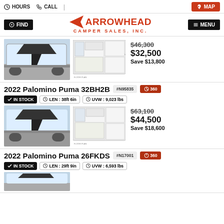HOURS  CALL  MAP
[Figure (logo): Arrowhead Camper Sales, Inc. logo with red arrow and red text]
2022 Palomino Puma 32BH2B  #N95835  360
IN STOCK  LEN : 38ft 6in  UVW : 9,023 lbs
[Figure (photo): Photo of a white travel trailer RV]
[Figure (schematic): Floor plan schematic of 32BH2B]
$46,300  $32,500  Save $13,800
2022 Palomino Puma 32BH2B  #N95835  360
IN STOCK  LEN : 38ft 6in  UVW : 9,023 lbs
[Figure (photo): Photo of a white travel trailer RV]
[Figure (schematic): Floor plan schematic of 32BH2B second listing]
$63,100  $44,500  Save $18,600
2022 Palomino Puma 26FKDS  #N17001  360
IN STOCK  LEN : 29ft 9in  UVW : 6,593 lbs